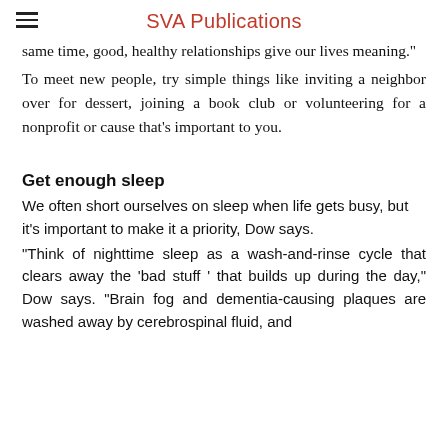SVA Publications
same time, good, healthy relationships give our lives meaning."
To meet new people, try simple things like inviting a neighbor over for dessert, joining a book club or volunteering for a nonprofit or cause that's important to you.
Get enough sleep
We often short ourselves on sleep when life gets busy, but it's important to make it a priority, Dow says.
"Think of nighttime sleep as a wash-and-rinse cycle that clears away the 'bad stuff ' that builds up during the day," Dow says. "Brain fog and dementia-causing plaques are washed away by cerebrospinal fluid, and